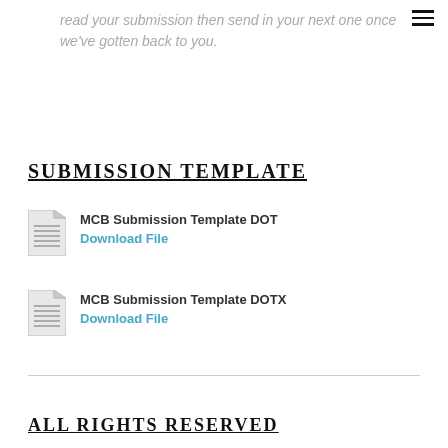read your submission then send in your next one once we've gotten back to you.
SUBMISSION TEMPLATE
MCB Submission Template DOT
Download File
MCB Submission Template DOTX
Download File